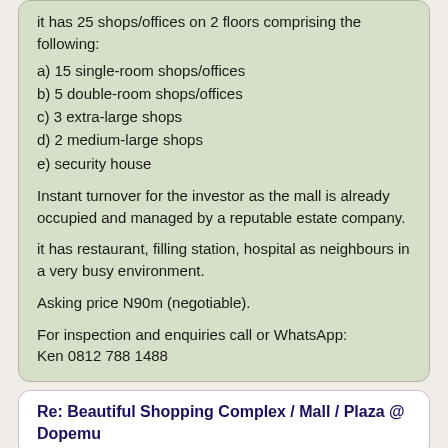it has 25 shops/offices on 2 floors comprising the following:
a) 15 single-room shops/offices
b) 5 double-room shops/offices
c) 3 extra-large shops
d) 2 medium-large shops
e) security house
Instant turnover for the investor as the mall is already occupied and managed by a reputable estate company.
it has restaurant, filling station, hospital as neighbours in a very busy environment.
Asking price N90m (negotiable).
For inspection and enquiries call or WhatsApp:
Ken 0812 788 1488
Re: Beautiful Shopping Complex / Mall / Plaza @ Dopemu